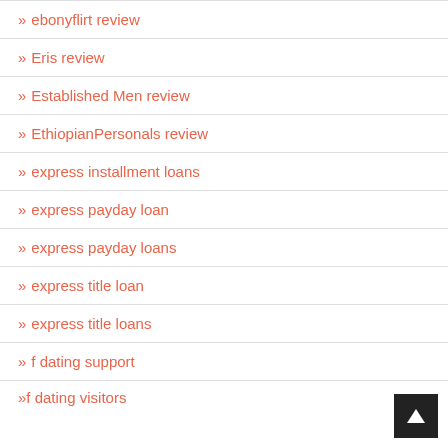ebonyflirt review
Eris review
Established Men review
EthiopianPersonals review
express installment loans
express payday loan
express payday loans
express title loan
express title loans
f dating support
f dating visitors